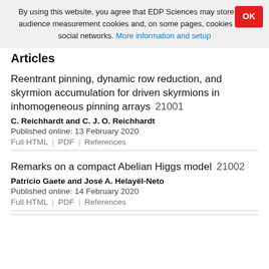By using this website, you agree that EDP Sciences may store web audience measurement cookies and, on some pages, cookies from social networks. More information and setup
Articles
Reentrant pinning, dynamic row reduction, and skyrmion accumulation for driven skyrmions in inhomogeneous pinning arrays   21001
C. Reichhardt and C. J. O. Reichhardt
Published online: 13 February 2020
Full HTML | PDF | References
Remarks on a compact Abelian Higgs model   21002
Patricio Gaete and José A. Helayël-Neto
Published online: 14 February 2020
Full HTML | PDF | References